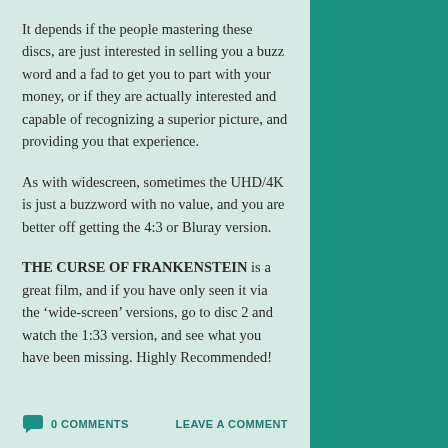It depends if the people mastering these discs, are just interested in selling you a buzz word and a fad to get you to part with your money, or if they are actually interested and capable of recognizing a superior picture, and providing you that experience.
As with widescreen, sometimes the UHD/4K is just a buzzword with no value, and you are better off getting the 4:3 or Bluray version.
THE CURSE OF FRANKENSTEIN is a great film, and if you have only seen it via the ‘wide-screen’ versions, go to disc 2 and watch the 1:33 version, and see what you have been missing. Highly Recommended!
0 COMMENTS
LEAVE A COMMENT